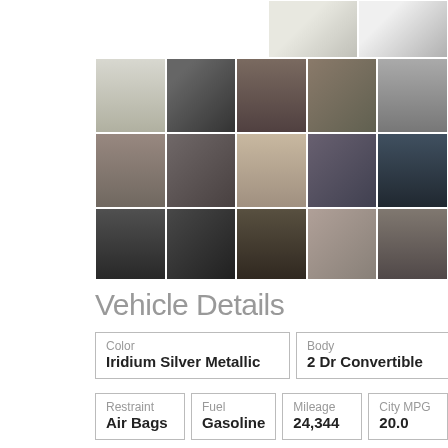[Figure (photo): Grid of car photos showing exterior and interior views of a white Mercedes-Benz convertible]
Vehicle Details
| Color | Body | Do... |
| --- | --- | --- |
| Iridium Silver Metallic | 2 Dr Convertible | 2... |
| Restraint | Fuel | Mileage | City MPG |
| --- | --- | --- | --- |
| Air Bags | Gasoline | 24,344 | 20.0 |